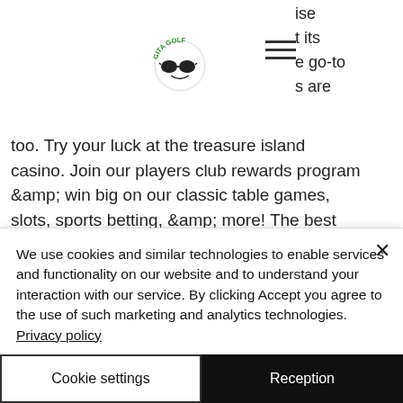[Figure (logo): Gita Golf logo: a golf ball wearing sunglasses with 'GITA GOLF' text in green arc above]
ise
t its
e go-to
s are
too. Try your luck at the treasure island casino. Join our players club rewards program &amp; win big on our classic table games, slots, sports betting, &amp; more! The best casino in vegas for slots. Cozy up to incredible slot play. With all of the latest large. Play genuine las vegas slots online for free or to win cash. No need to register, no need to deposit money and no annoying
We use cookies and similar technologies to enable services and functionality on our website and to understand your interaction with our service. By clicking Accept you agree to the use of such marketing and analytics technologies. Privacy policy
Cookie settings
Reception